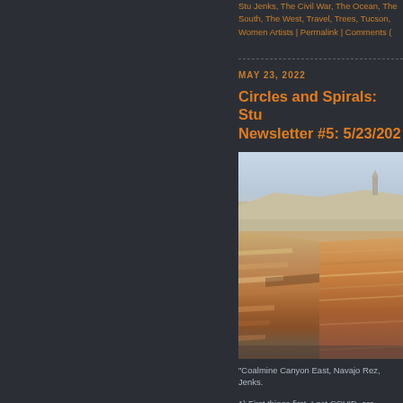Stu Jenks, The Civil War, The Ocean, The South, The West, Travel, Trees, Tucson, Women Artists | Permalink | Comments (
MAY 23, 2022
Circles and Spirals: Stu Newsletter #5: 5/23/2022
[Figure (photo): Landscape photograph of Coalmine Canyon East on the Navajo Reservation, showing layered red and white sandstone formations with mesa in background under hazy sky.]
"Coalmine Canyon East, Navajo Rez, Jenks.
1) First things first. I got COVID, are